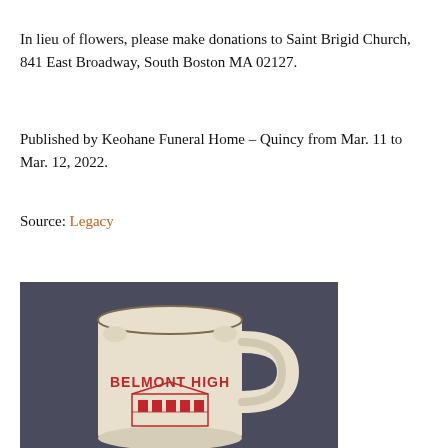In lieu of flowers, please make donations to Saint Brigid Church, 841 East Broadway, South Boston MA 02127.
Published by Keohane Funeral Home – Quincy from Mar. 11 to Mar. 12, 2022.
Source: Legacy
[Figure (photo): A ceramic beer mug with 'BELMONT HIGH' text and a building illustration in red on the front, photographed against a dark gray background.]